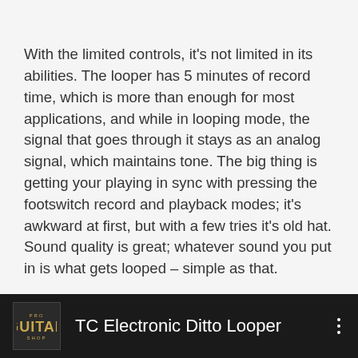With the limited controls, it's not limited in its abilities. The looper has 5 minutes of record time, which is more than enough for most applications, and while in looping mode, the signal that goes through it stays as an analog signal, which maintains tone. The big thing is getting your playing in sync with pressing the footswitch record and playback modes; it's awkward at first, but with a few tries it's old hat. Sound quality is great; whatever sound you put in is what gets looped – simple as that.
TC Electronic Ditto Looper